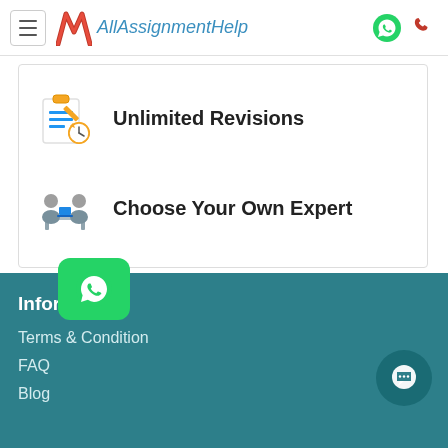AllAssignmentHelp
Unlimited Revisions
Choose Your Own Expert
Information
Terms & Condition
FAQ
Blog